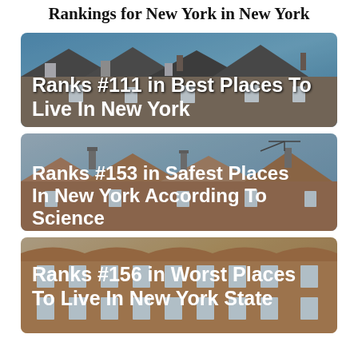Rankings for New York in New York
[Figure (photo): Photo of suburban houses with brick facades and chimneys against a blue sky, with overlaid text ranking]
Ranks #111 in Best Places To Live In New York
[Figure (photo): Photo of brick row houses with chimneys and TV antenna against a light sky, with overlaid text ranking]
Ranks #153 in Safest Places In New York According To Science
[Figure (photo): Photo of brick apartment buildings with ornate facade and windows against a light sky, with overlaid text ranking]
Ranks #156 in Worst Places To Live In New York State